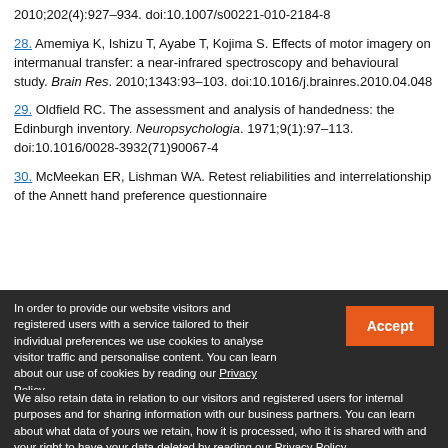2010;202(4):927–934. doi:10.1007/s00221-010-2184-8
28. Amemiya K, Ishizu T, Ayabe T, Kojima S. Effects of motor imagery on intermanual transfer: a near-infrared spectroscopy and behavioural study. Brain Res. 2010;1343:93–103. doi:10.1016/j.brainres.2010.04.048
29. Oldfield RC. The assessment and analysis of handedness: the Edinburgh inventory. Neuropsychologia. 1971;9(1):97–113. doi:10.1016/0028-3932(71)90067-4
30. McMeekan ER, Lishman WA. Retest reliabilities and interrelationship of the Annett hand preference questionnaire
In order to provide our website visitors and registered users with a service tailored to their individual preferences we use cookies to analyse visitor traffic and personalise content. You can learn about our use of cookies by reading our Privacy Policy. We also retain data in relation to our visitors and registered users for internal purposes and for sharing information with our business partners. You can learn about what data of yours we retain, how it is processed, who it is shared with and your right to have your data deleted by reading our Privacy Policy. If you agree to our use of cookies and the contents of our Privacy Policy please click 'accept'.